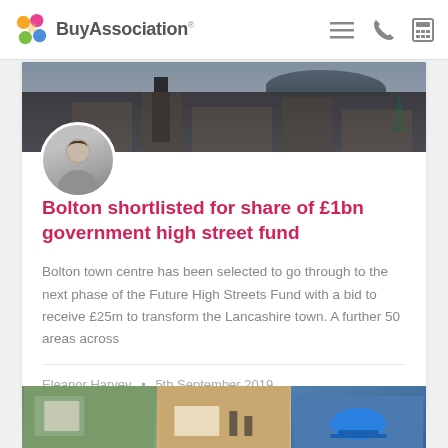BuyAssociation
[Figure (photo): Hero image of Bolton town centre with church tower and hills in background]
[Figure (photo): Circular avatar photo of Eleanor Harvey, black and white portrait]
Bolton shortlisted for share of £1bn government high street fund
Bolton town centre has been selected to go through to the next phase of the Future High Streets Fund with a bid to receive £25m to transform the Lancashire town. A further 50 areas across
Eleanor Harvey • 5th September 2019
[Figure (photo): Bottom strip showing three thumbnail images]